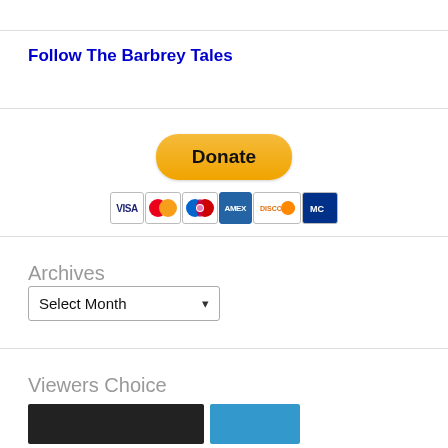Follow The Barbrey Tales
[Figure (other): PayPal Donate button with payment card icons (Visa, Mastercard, Mastercard variant, American Express, Discover, and one more card)]
Archives
Select Month
Viewers Choice
[Figure (photo): Two thumbnail images side by side: one dark/black and one blue]